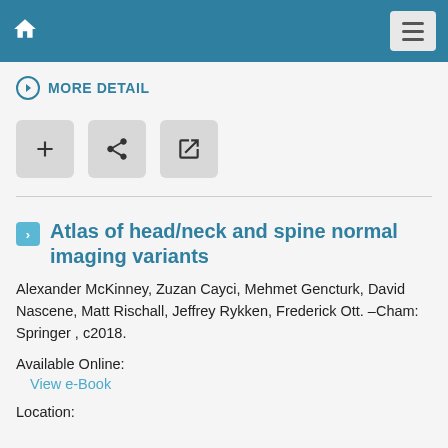MORE DETAIL
[Figure (screenshot): Navigation bar with home icon on left and hamburger menu button on right, dark teal background]
MORE DETAIL
[Figure (infographic): Three action buttons: plus (+), share, and external link icons]
Atlas of head/neck and spine normal imaging variants
Alexander McKinney, Zuzan Cayci, Mehmet Gencturk, David Nascene, Matt Rischall, Jeffrey Rykken, Frederick Ott. –Cham: Springer , c2018.
Available Online:
View e-Book
Location: